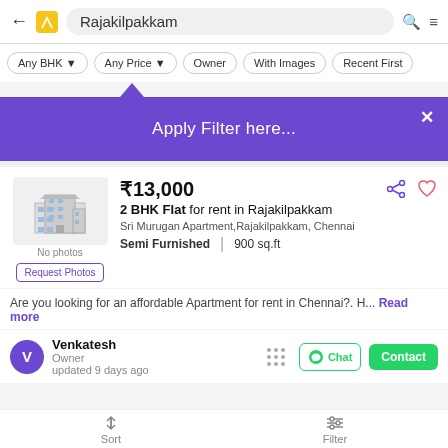Rajakilpakkam
Any BHK  Any Price  Owner  With Images  Recent First
Apply Filter here...
₹13,000
2 BHK Flat for rent in Rajakilpakkam
Sri Murugan Apartment,Rajakilpakkam, Chennai
Semi Furnished  |  900 sq.ft
Request Photos
Are you looking for an affordable Apartment for rent in Chennai?. H...  Read more
Venkatesh
Owner
updated 9 days ago
Sort  Filter